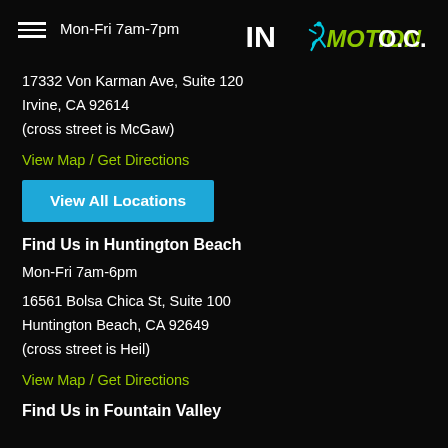Mon-Fri 7am-7pm
[Figure (logo): In Motion O.C. logo with stylized runner figure, 'IN' in white/cyan, 'MOTION' in green, 'O.C.' in white]
17332 Von Karman Ave, Suite 120
Irvine, CA 92614
(cross street is McGaw)
View Map / Get Directions
View All Locations
Find Us in Huntington Beach
Mon-Fri 7am-6pm
16561 Bolsa Chica St, Suite 100
Huntington Beach, CA 92649
(cross street is Heil)
View Map / Get Directions
Find Us in Fountain Valley